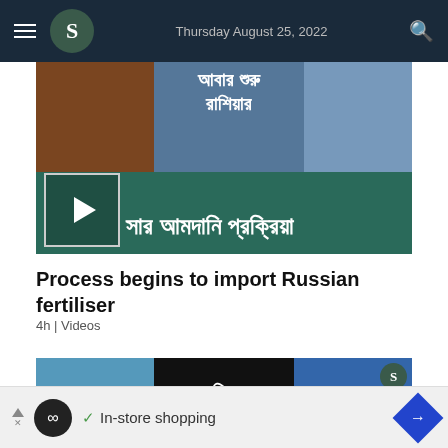Thursday August 25, 2022
[Figure (screenshot): Video thumbnail showing two people with Bengali text overlay about Russian fertilizer import process, with play button]
Process begins to import Russian fertiliser
4h | Videos
[Figure (screenshot): Second video thumbnail with Bengali text about Putin, showing a man on left and a woman on right with a B logo badge]
In-store shopping